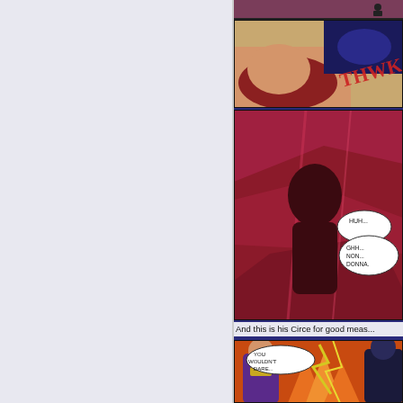[Figure (illustration): Left blank/light gray panel area of a webpage layout with dark blue sidebar background]
[Figure (illustration): Comic book panel showing a female character with red hair being struck, with a hero in dark costume flying/kicking, action effect text 'THWAK']
[Figure (illustration): Comic book panel with dark red/crimson background showing a shadowed silhouette of a character with speech bubbles reading 'HUH...' 'GHH... NON... DONNA.']
And this is his Circe for good meas...
[Figure (illustration): Comic book panel showing Circe character in purple costume with speech bubble 'YOU WOULDN'T DARE...' confronting Batman and other heroes with lightning effects]